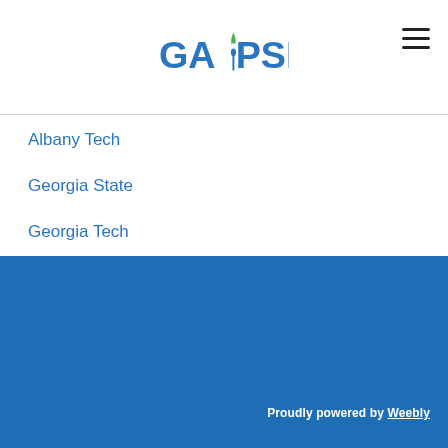GA|PSEC
Albany Tech
Georgia State
Georgia Tech
Kennesaw State University
University Of Georgia
Proudly powered by Weebly